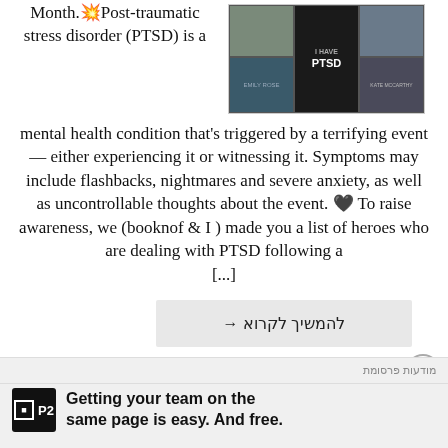[Figure (photo): Book collage image showing multiple book covers related to PTSD]
Month. 💥Post-traumatic stress disorder (PTSD) is a mental health condition that's triggered by a terrifying event — either experiencing it or witnessing it. Symptoms may include flashbacks, nightmares and severe anxiety, as well as uncontrollable thoughts about the event. 🖤 To raise awareness, we (booknof & I ) made you a list of heroes who are dealing with PTSD following a [...]
להמשיך לקרוא →
מודעות פרסומת
Getting your team on the same page is easy. And free.